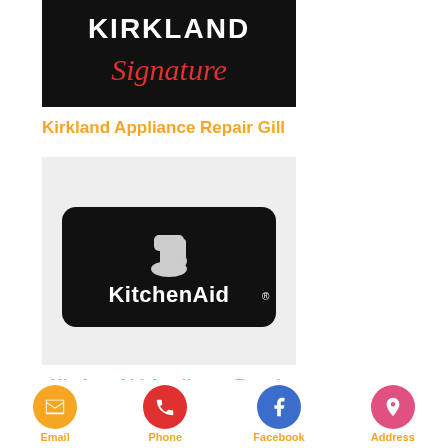[Figure (logo): Kirkland Signature brand logo on black background]
Kirkland Appliance Repair Gill
[Figure (logo): KitchenAid brand logo on black badge with stand mixer icon]
Kitchen Aid Appliance Repair Gill
[Figure (logo): LG brand logo partially visible]
Email  Phone  Facebook  Address